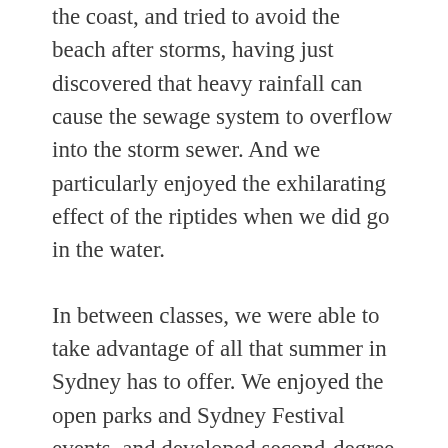the coast, and tried to avoid the beach after storms, having just discovered that heavy rainfall can cause the sewage system to overflow into the storm sewer. And we particularly enjoyed the exhilarating effect of the riptides when we did go in the water.
In between classes, we were able to take advantage of all that summer in Sydney has to offer. We enjoyed the open parks and Sydney Festival events, and developed second-degree burns on the beautiful beaches. While the city can be expensive, the hot sun and salty sea breeze motivated us to take advantage of the freedom of being outdoors as much as possible. We also tried many of Australia's ubiquitous meat pies, the cheapest meal available, and